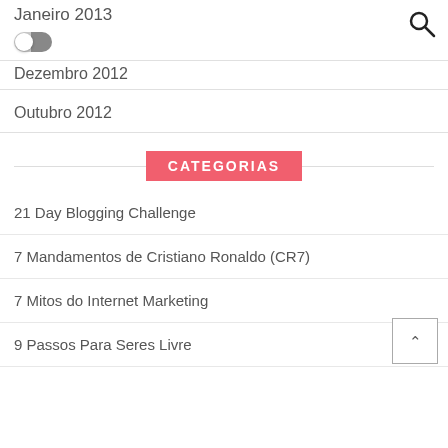Janeiro 2013
Dezembro 2012
Outubro 2012
CATEGORIAS
21 Day Blogging Challenge
7 Mandamentos de Cristiano Ronaldo (CR7)
7 Mitos do Internet Marketing
9 Passos Para Seres Livre